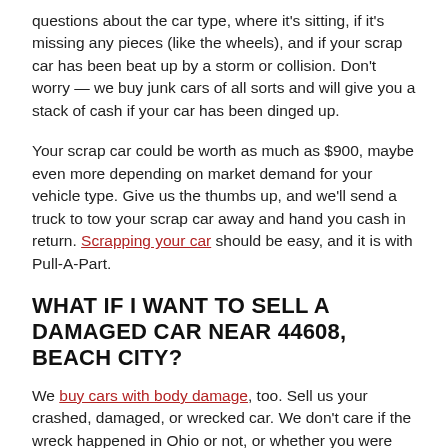questions about the car type, where it's sitting, if it's missing any pieces (like the wheels), and if your scrap car has been beat up by a storm or collision. Don't worry — we buy junk cars of all sorts and will give you a stack of cash if your car has been dinged up.
Your scrap car could be worth as much as $900, maybe even more depending on market demand for your vehicle type. Give us the thumbs up, and we'll send a truck to tow your scrap car away and hand you cash in return. Scrapping your car should be easy, and it is with Pull-A-Part.
WHAT IF I WANT TO SELL A DAMAGED CAR NEAR 44608, BEACH CITY?
We buy cars with body damage, too. Sell us your crashed, damaged, or wrecked car. We don't care if the wreck happened in Ohio or not, or whether you were rear-ended or backed into a tree. Frame, body, or structural troubles? All good. We'll still buy your accident-damaged car. (However, we usually have to say "no" to fire and flood damaged cars.)